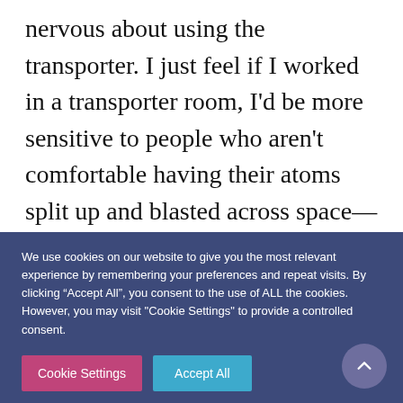nervous about using the transporter. I just feel if I worked in a transporter room, I'd be more sensitive to people who aren't comfortable having their atoms split up and blasted across space—although I suppose, to be fair, it's quite well-established technology by the TNG era so maybe being anxious about transporters is the TNG equivalent of
We use cookies on our website to give you the most relevant experience by remembering your preferences and repeat visits. By clicking "Accept All", you consent to the use of ALL the cookies. However, you may visit "Cookie Settings" to provide a controlled consent.